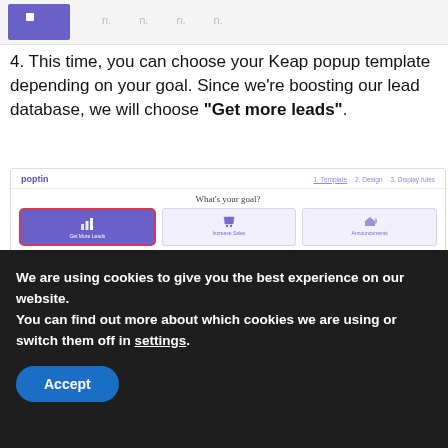[Figure (screenshot): Top of a webpage showing a purple thumbnail and navigation dots]
4. This time, you can choose your Keap popup template depending on your goal. Since we're boosting our lead database, we will choose "Get more leads".
[Figure (screenshot): Poptin template selector showing 'What's your goal?' with Get More Leads selected (highlighted with red oval), Increase Sales, and Announcements options. Filter bar at bottom with Lightbox, Bar, Slide-in, Full-screen, Social, Mobile options.]
We are using cookies to give you the best experience on our website.
You can find out more about which cookies we are using or switch them off in settings.
Accept